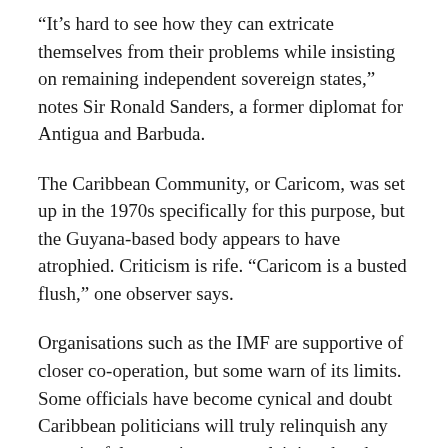“It’s hard to see how they can extricate themselves from their problems while insisting on remaining independent sovereign states,” notes Sir Ronald Sanders, a former diplomat for Antigua and Barbuda.
The Caribbean Community, or Caricom, was set up in the 1970s specifically for this purpose, but the Guyana-based body appears to have atrophied. Criticism is rife. “Caricom is a busted flush,” one observer says.
Organisations such as the IMF are supportive of closer co-operation, but some warn of its limits. Some officials have become cynical and doubt Caribbean politicians will truly relinquish any meaningful sovereignty, complaining that they have yet to fathom the depth of their crisis.
“Closer integration is like economic theology in the Caribbean,” says one official. “All the politicians chant about the importance of integration at meetings, but then